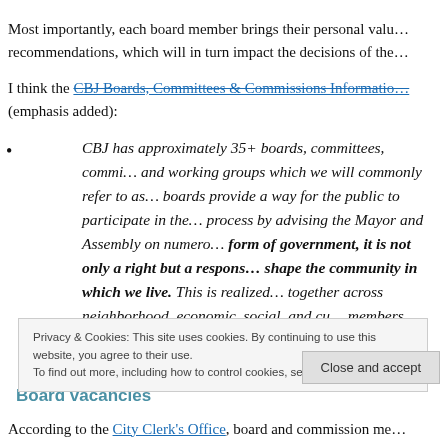Most importantly, each board member brings their personal valu… recommendations, which will in turn impact the decisions of the…
I think the CBJ Boards, Committees & Commissions Informatio… (emphasis added):
CBJ has approximately 35+ boards, committees, commi… and working groups which we will commonly refer to as… boards provide a way for the public to participate in the… process by advising the Mayor and Assembly on numero… form of government, it is not only a right but a respons… shape the community in which we live. This is realized… together across neighborhood, economic, social, and cu… members, assisting our local government in making dec…
Privacy & Cookies: This site uses cookies. By continuing to use this website, you agree to their use. To find out more, including how to control cookies, see here: Cookie Policy
Board vacancies
According to the City Clerk's Office, board and commission me…